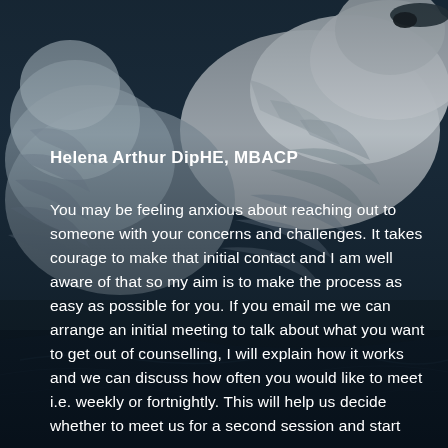[Figure (photo): Dark atmospheric photo of two swans (likely cygnets or adult swans close up), with dark blue-grey tones, feathers visible in detail, reflections in water, moody and intimate composition]
Helena Arthur DipHE, MBACP
You may be feeling anxious about reaching out to someone with your concerns and challenges. It takes courage to make that initial contact and I am well aware of that so my aim is to make the process as easy as possible for you. If you email me we can arrange an initial meeting to talk about what you want to get out of counselling, I will explain how it works and we can discuss how often you would like to meet i.e. weekly or fortnightly. This will help us decide whether to meet us for a second session and start